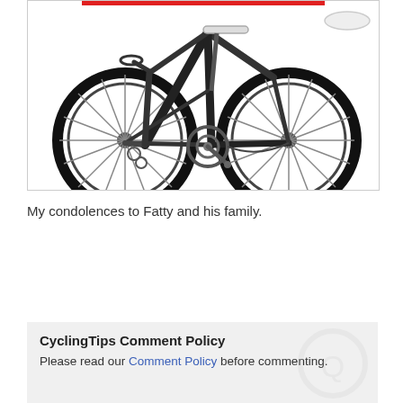[Figure (photo): A black road bicycle/racing bike on a white background, showing the full side profile with two wheels, frame, handlebars, seat, chain, and drivetrain components visible.]
My condolences to Fatty and his family.
CyclingTips Comment Policy
Please read our Comment Policy before commenting.